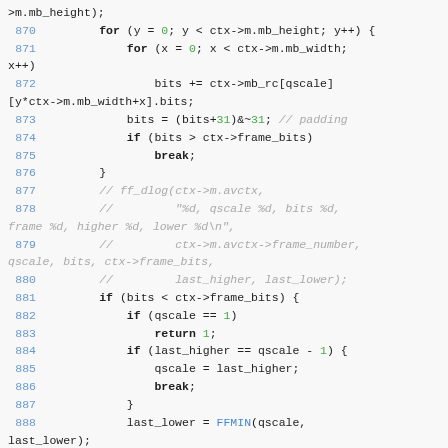Source code listing showing C code lines 870–888 with syntax highlighting. Line numbers in blue, keywords bold, numeric literals in green, comments in gray italic, function names in blue.